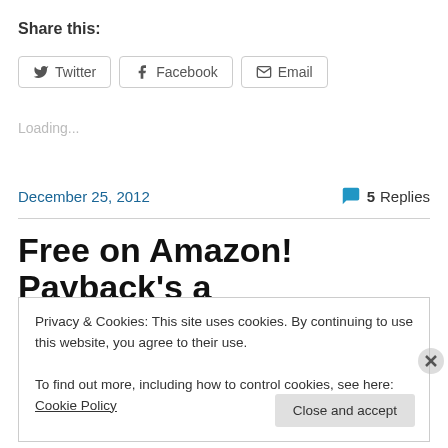Share this:
Twitter | Facebook | Email
Loading...
December 25, 2012    5 Replies
Free on Amazon! Payback's a
Privacy & Cookies: This site uses cookies. By continuing to use this website, you agree to their use.
To find out more, including how to control cookies, see here: Cookie Policy
Close and accept